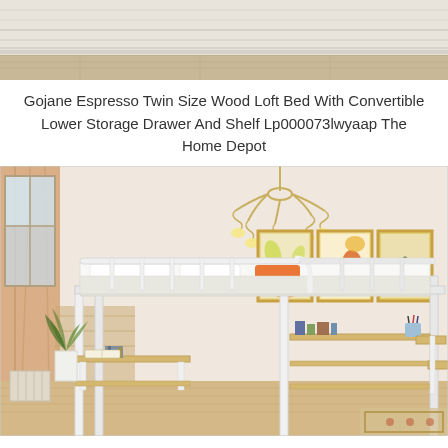[Figure (photo): Top cropped photo showing a bed with white bedding and wooden floor, shot from above/angle]
Gojane Espresso Twin Size Wood Loft Bed With Convertible Lower Storage Drawer And Shelf Lp000073lwyaap The Home Depot
[Figure (photo): Product photo of a white metal loft bed in a stylish room with warm beige walls, orange curtains, chandelier, three framed artworks on wall, white bedding with orange pillow, and storage shelves/desk underneath]